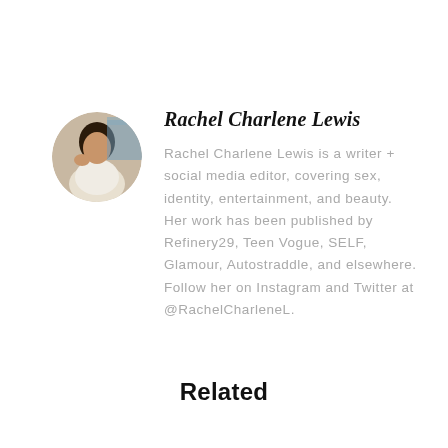[Figure (photo): Circular avatar photo of Rachel Charlene Lewis]
Rachel Charlene Lewis
Rachel Charlene Lewis is a writer + social media editor, covering sex, identity, entertainment, and beauty. Her work has been published by Refinery29, Teen Vogue, SELF, Glamour, Autostraddle, and elsewhere. Follow her on Instagram and Twitter at @RachelCharleneL.
Related